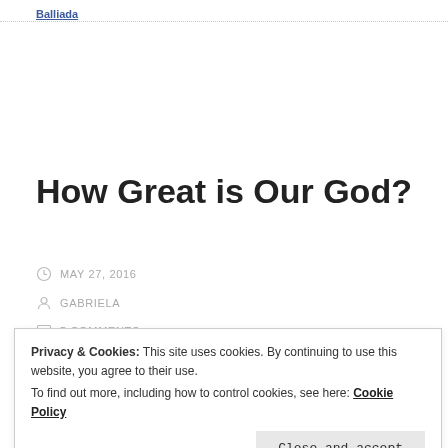Balliada
How Great is Our God?
MAY 27, 2016
GABRIELA
5 COMMENTS
Privacy & Cookies: This site uses cookies. By continuing to use this website, you agree to their use.
To find out more, including how to control cookies, see here: Cookie Policy
Close and accept
[Figure (photo): Book cover showing 'How Great' text on a dark teal/blue background]